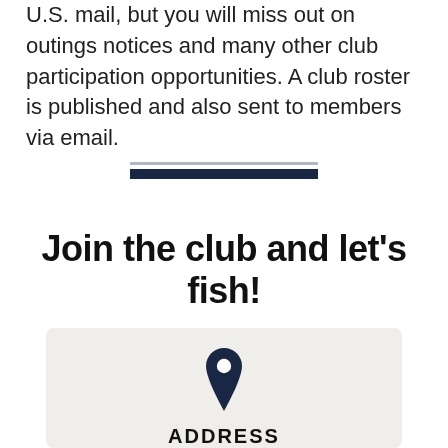U.S. mail, but you will miss out on outings notices and many other club participation opportunities. A club roster is published and also sent to members via email.
[Figure (other): Horizontal decorative divider with a thin grey line above a thick dark navy bar]
Join the club and let's fish!
[Figure (infographic): Light beige/grey box with a dark navy map pin icon and bold uppercase text 'ADDRESS' below it]